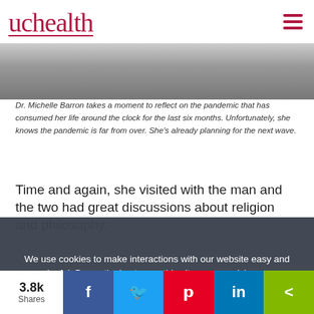uchealth
[Figure (photo): Partial photo of a person resting their head, visible from chin to eye area, wearing a red top]
Dr. Michelle Barron takes a moment to reflect on the pandemic that has consumed her life around the clock for the last six months. Unfortunately, she knows the pandemic is far from over. She's already planning for the next wave.
Time and again, she visited with the man and the two had great discussions about religion and philosophy.
We use cookies to make interactions with our website easy and meaningful. By continuing to use this site you are giving us your consent. Learn how cookies are used on our site.
Accept terms
3.8k Shares